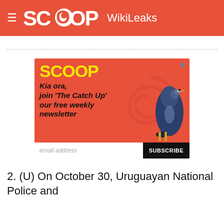SCOOP WikiLeaks
[Figure (advertisement): Scoop newsletter advertisement with yellow SCOOP logo on red background, tui bird image, text 'Kia ora, join The Catch Up our free weekly newsletter', email address input and SUBSCRIBE button]
2. (U) On October 30, Uruguayan National Police and